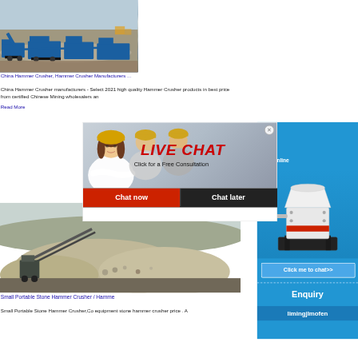[Figure (photo): Aerial view of blue mining/crushing equipment machines at a quarry site]
China Hammer Crusher, Hammer Crusher Manufacturers ...
China Hammer Crusher manufacturers - Select 2021 high quality Hammer Crusher products in best price from certified Chinese Mining wholesalers and
Read More
[Figure (screenshot): Live Chat popup overlay with people in hard hats, red LIVE CHAT text, Chat now and Chat later buttons]
[Figure (screenshot): Right sidebar showing blue widget with industrial machine, Click me to chat>>, Enquiry, and limingjlmofen branding]
[Figure (photo): Small portable stone hammer crusher equipment at a quarry with aggregate piles]
Small Portable Stone Hammer Crusher / Hamme
Small Portable Stone Hammer Crusher,Co equipment stone hammer crusher price . A
limingjlmofen